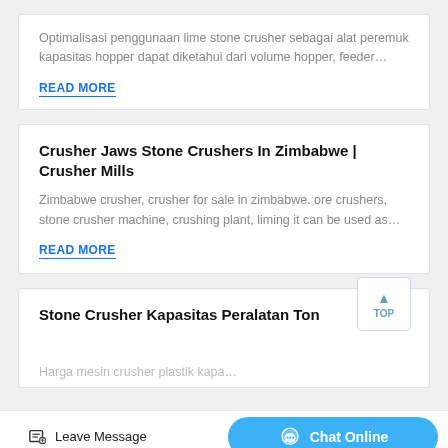Optimalisasi penggunaan lime stone crusher sebagai alat peremuk kapasitas hopper dapat diketahui dari volume hopper, feeder…
READ MORE
Crusher Jaws Stone Crushers In Zimbabwe | Crusher Mills
Zimbabwe crusher, crusher for sale in zimbabwe. ore crushers, stone crusher machine, crushing plant, liming it can be used as…
READ MORE
Stone Crusher Kapasitas Peralatan Ton
Harga mesin crusher plastik kapa…